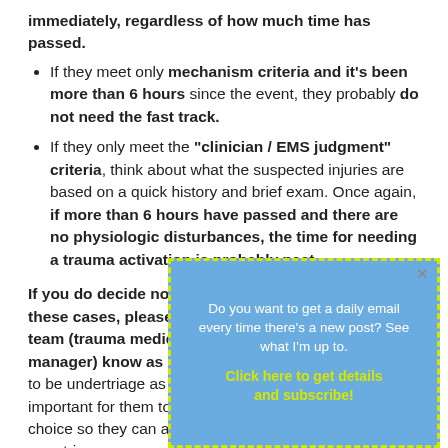immediately, regardless of how much time has passed.
If they meet only mechanism criteria and it's been more than 6 hours since the event, they probably do not need the fast track.
If they only meet the "clinician / EMS judgment" criteria, think about what the suspected injuries are based on a quick history and brief exam. Once again, if more than 6 hours have passed and there are no physiologic disturbances, the time for needing a trauma activation is probably past.
If you do decide not to trigger an activation in one of these cases, please let your trauma administrative team (trauma medical director, trauma program manager) know as soon as possible. This may appear to be undertriage as they analyze the admission, and it's important for them to know the reasoning behind your choice so they can accurately document under- and over-triage.
[Figure (other): Popup overlay box with blue background and yellow dashed border, containing text: 'Do you want to get a daily email every time there's a new post? See what I'm up to.' and a yellow link 'Click here to get details and subscribe!']